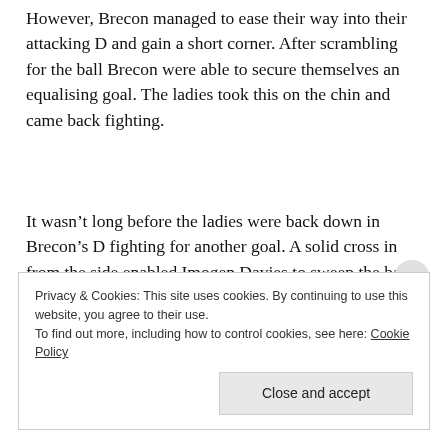However, Brecon managed to ease their way into their attacking D and gain a short corner. After scrambling for the ball Brecon were able to secure themselves an equalising goal. The ladies took this on the chin and came back fighting.
It wasn't long before the ladies were back down in Brecon's D fighting for another goal. A solid cross in from the side enabled Imogen Davies to sweep the ball into the back of the net, taking the score to 2-1. But the ladies didn't stop there, after being granted another short corner Hannah Preuss hits the ball left of goal to Jessica Williams, who secured the 3rd
Privacy & Cookies: This site uses cookies. By continuing to use this website, you agree to their use.
To find out more, including how to control cookies, see here: Cookie Policy
Close and accept